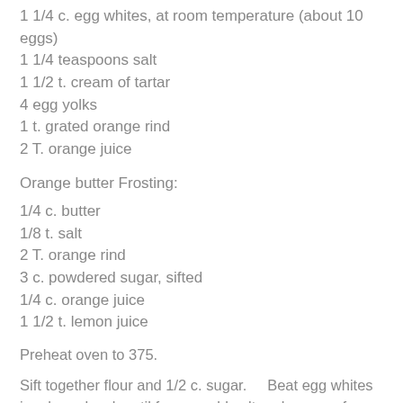1 1/4 c. egg whites, at room temperature (about 10 eggs)
1 1/4 teaspoons salt
1 1/2 t. cream of tartar
4 egg yolks
1 t. grated orange rind
2 T. orange juice
Orange butter Frosting:
1/4 c. butter
1/8 t. salt
2 T. orange rind
3 c. powdered sugar, sifted
1/4 c. orange juice
1 1/2 t. lemon juice
Preheat oven to 375.
Sift together flour and 1/2 c. sugar.    Beat egg whites in a large bowl, until foamy; add salt and cream of tartar and vanilla.    Beat until soft peaks form.    Sprinkle in 1 cup sugar, 1/4 c. at a time, beating until just blended.   Fold flour mixture into egg whites, 1/4 c. at a time, using a rubber